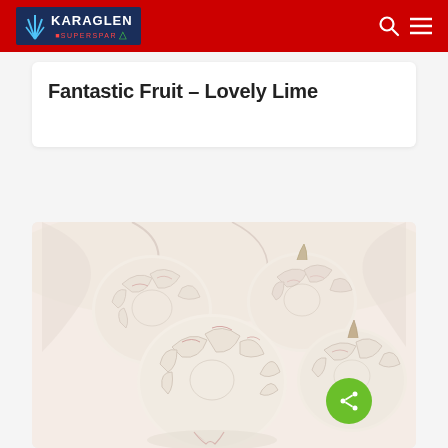KARAGLEN SUPERSPAR
Fantastic Fruit – Lovely Lime
[Figure (photo): Close-up photograph of several white/cream-colored garlic bulbs grouped together against a light background]